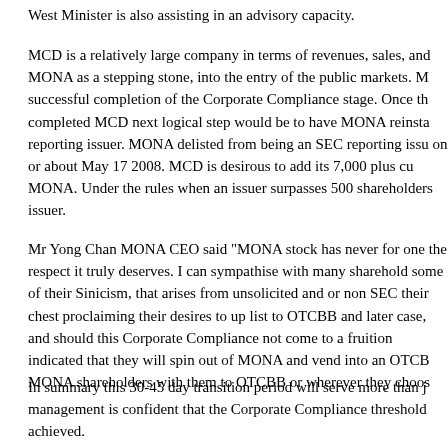West Minister is also assisting in an advisory capacity.
MCD is a relatively large company in terms of revenues, sales, and MONA as a stepping stone, into the entry of the public markets. M successful completion of the Corporate Compliance stage. Once th completed MCD next logical step would be to have MONA reinsta reporting issuer. MONA delisted from being an SEC reporting issu on or about May 17 2008. MCD is desirous to add its 7,000 plus cu MONA. Under the rules when an issuer surpasses 500 shareholders issuer.
Mr Yong Chan MONA CEO said "MONA stock has never for one the respect it truly deserves. I can sympathise with many sharehold some of their Sinicism, that arises from unsolicited and or non SEC their chest proclaiming their desires to up list to OTCBB and later case, and should this Corporate Compliance not come to a fruition indicated that they will spin out of MONA and vend into an OTCB MONA shareholders with them to OTCBB or wherever they choos
In summary this 30-45 day transition period will serve more than j management is confident that the Corporate Compliance threshold achieved.
Mr.Winters added "To me the glass is always half full. In the event Corporate Compliance threshold cannot be met then one of the sol do what Mr.Chan here suggested and perhaps one of the other opti